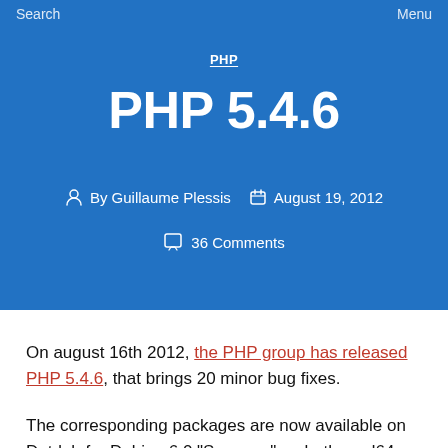Search   Menu
PHP
PHP 5.4.6
By Guillaume Plessis   August 19, 2012
36 Comments
On august 16th 2012, the PHP group has released PHP 5.4.6, that brings 20 minor bug fixes.
The corresponding packages are now available on Dotdeb for Debian 6.0 “Squeeze” on both amd64 and i386 architectures. As usual, please read